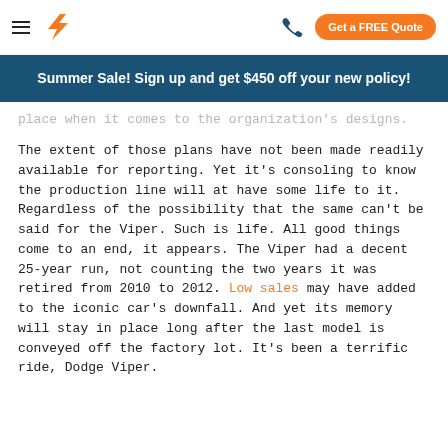☰ [logo] [phone] Get a FREE Quote
Summer Sale! Sign up and get $450 off your new policy!
place when it comes to the organization's designs.
The extent of those plans have not been made readily available for reporting. Yet it's consoling to know the production line will at have some life to it. Regardless of the possibility that the same can't be said for the Viper. Such is life. All good things come to an end, it appears. The Viper had a decent 25-year run, not counting the two years it was retired from 2010 to 2012. Low sales may have added to the iconic car's downfall. And yet its memory will stay in place long after the last model is conveyed off the factory lot. It's been a terrific ride, Dodge Viper.